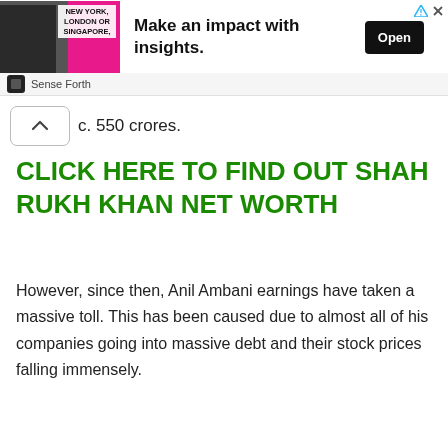[Figure (screenshot): Advertisement banner: image of a person with pink background and text 'NEW YORK, LONDON OR SINGAPORE,' on left; bold headline 'Make an impact with insights.' in center; black 'Open' button on right; arrow and X icons in top right corner; 'Sense Forth' sponsor label below banner.]
c. 550 crores.
CLICK HERE TO FIND OUT SHAH RUKH KHAN NET WORTH
However, since then, Anil Ambani earnings have taken a massive toll. This has been caused due to almost all of his companies going into massive debt and their stock prices falling immensely.